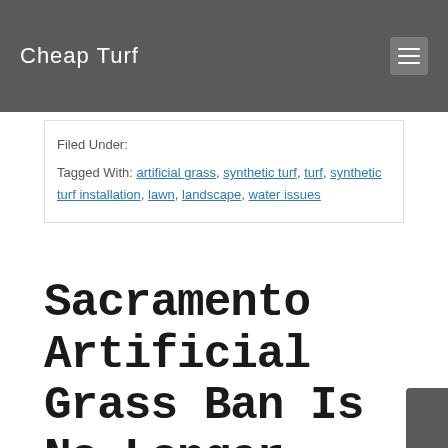Cheap Turf
Filed Under:
Tagged With: artificial grass, synthetic turf, turf, synthetic turf installation, lawn, landscape, water issues
Sacramento Artificial Grass Ban Is No Longer Enforced